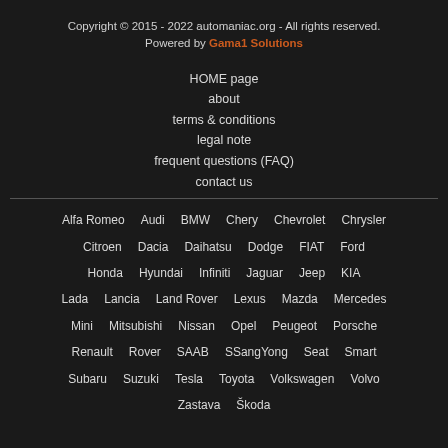Copyright © 2015 - 2022 automaniac.org - All rights reserved.
Powered by Gama1 Solutions
HOME page
about
terms & conditions
legal note
frequent questions (FAQ)
contact us
Alfa Romeo  Audi  BMW  Chery  Chevrolet  Chrysler  Citroen  Dacia  Daihatsu  Dodge  FIAT  Ford  Honda  Hyundai  Infiniti  Jaguar  Jeep  KIA  Lada  Lancia  Land Rover  Lexus  Mazda  Mercedes  Mini  Mitsubishi  Nissan  Opel  Peugeot  Porsche  Renault  Rover  SAAB  SSangYong  Seat  Smart  Subaru  Suzuki  Tesla  Toyota  Volkswagen  Volvo  Zastava  Škoda